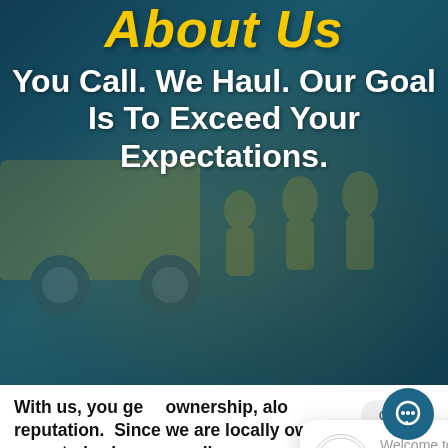About Us
You Call. We Haul. Our Goal Is To Exceed Your Expectations.
[Figure (screenshot): Chat widget popup with Take It Away Today logo and message: Welcome to Take It Away Today, have a question? Text us here.]
With us, you ge... ownership, alo... reputation.  Since we are locally owned and operated, when you call you are not talking t... someone in a call center thousands of miles away.